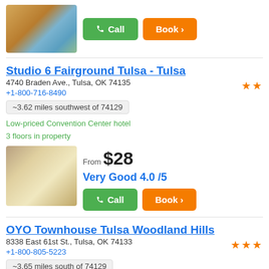[Figure (photo): Hotel exterior photo at top, showing a building with orange/yellow facade]
Call | Book >
Studio 6 Fairground Tulsa - Tulsa
4740 Braden Ave., Tulsa, OK 74135
+1-800-716-8490
~3.62 miles southwest of 74129
Low-priced Convention Center hotel
3 floors in property
[Figure (photo): Hotel room interior photo showing two beds]
From $28
Very Good 4.0 /5
Call | Book >
OYO Townhouse Tulsa Woodland Hills
8338 East 61st St., Tulsa, OK 74133
+1-800-805-5223
~3.65 miles south of 74129